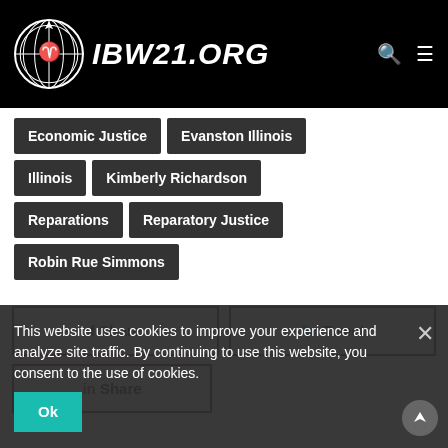IBW21.ORG
Economic Justice
Evanston Illinois
Illinois
Kimberly Richardson
Reparations
Reparatory Justice
Robin Rue Simmons
f Share   Tweet   in Share
This website uses cookies to improve your experience and analyze site traffic. By continuing to use this website, you consent to the use of cookies.